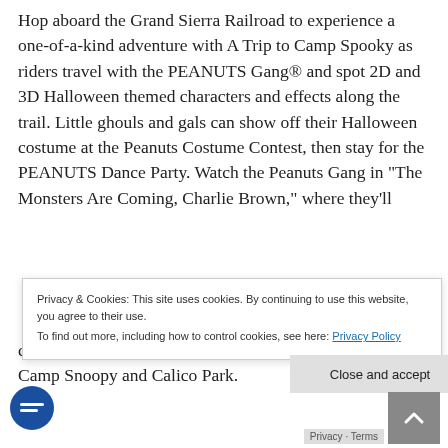Hop aboard the Grand Sierra Railroad to experience a one-of-a-kind adventure with A Trip to Camp Spooky as riders travel with the PEANUTS Gang® and spot 2D and 3D Halloween themed characters and effects along the trail. Little ghouls and gals can show off their Halloween costume at the Peanuts Costume Contest, then stay for the PEANUTS Dance Party. Watch the Peanuts Gang in "The Monsters Are Coming, Charlie Brown," where they'll ... cial meet & greets and fun photo encounters Camp Snoopy and Calico Park.
Privacy & Cookies: This site uses cookies. By continuing to use this website, you agree to their use. To find out more, including how to control cookies, see here: Privacy Policy
Close and accept